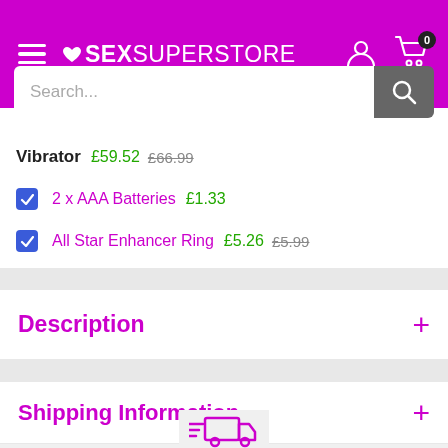SEX SUPERSTORE
Vibrator £59.52 £66.99
2 x AAA Batteries £1.33
All Star Enhancer Ring £5.26 £5.99
Description
Shipping Information
[Figure (illustration): Shipping truck icon in purple]